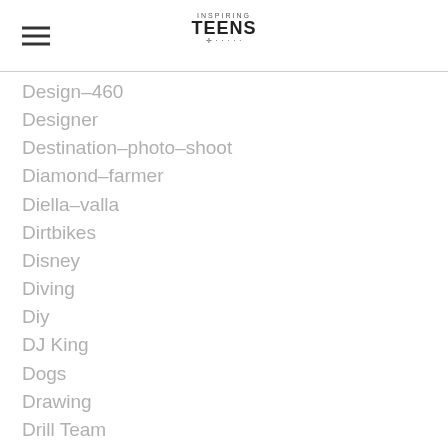Inspiring Teens
Design-460
Designer
Destination-photo-shoot
Diamond-farmer
Diella-valla
Dirtbikes
Disney
Diving
Diy
DJ King
Dogs
Drawing
Drill Team
Drug Free
Drummer
Dwightallenphotography
Dylan-abell
Eagle Project